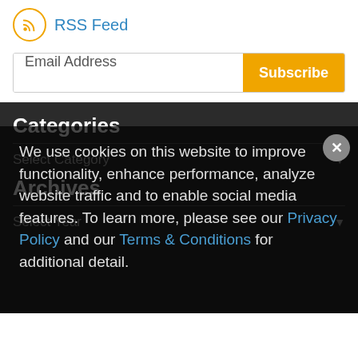RSS Feed
[Figure (infographic): Email Address input field with Subscribe button]
Categories
Select Category
Archives
Select Year
We use cookies on this website to improve functionality, enhance performance, analyze website traffic and to enable social media features. To learn more, please see our Privacy Policy and our Terms & Conditions for additional detail.